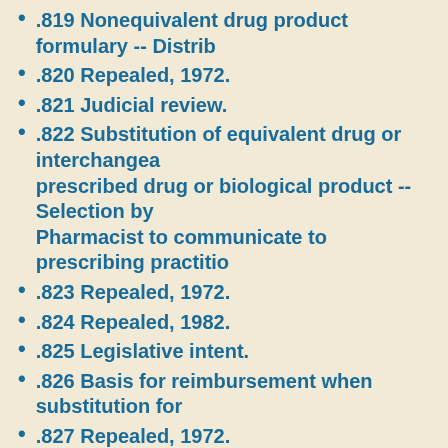.819 Nonequivalent drug product formulary -- Distrib
.820 Repealed, 1972.
.821 Judicial review.
.822 Substitution of equivalent drug or interchangea prescribed drug or biological product -- Selection by Pharmacist to communicate to prescribing practitio
.823 Repealed, 1972.
.824 Repealed, 1982.
.825 Legislative intent.
.826 Basis for reimbursement when substitution for
.827 Repealed, 1972.
.830 Pharmacy required to post sign concerning dis
.833 Repealed, 1972.
.837 Repealed, 1972.